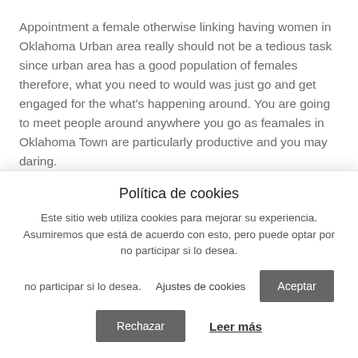Appointment a female otherwise linking having women in Oklahoma Urban area really should not be a tedious task since urban area has a good population of females therefore, what you need to would was just go and get engaged for the what's happening around. You are going to meet people around anywhere you go as feamales in Oklahoma Town are particularly productive and you may daring.
Department stores are among the great towns so you're able to link which have feamales in Oklahoma Urban
Política de cookies
Este sitio web utiliza cookies para mejorar su experiencia. Asumiremos que está de acuerdo con esto, pero puede optar por no participar si lo desea.
Ajustes de cookies
Aceptar
Rechazar
Leer más